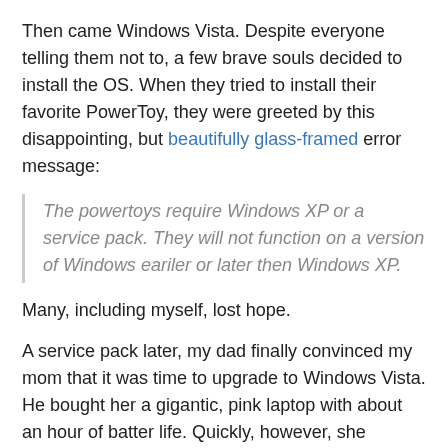Then came Windows Vista. Despite everyone telling them not to, a few brave souls decided to install the OS. When they tried to install their favorite PowerToy, they were greeted by this disappointing, but beautifully glass-framed error message:
The powertoys require Windows XP or a service pack. They will not function on a version of Windows eariler or later then Windows XP.
Many, including myself, lost hope.
A service pack later, my dad finally convinced my mom that it was time to upgrade to Windows Vista. He bought her a gigantic, pink laptop with about an hour of batter life. Quickly, however, she noticed there was no option to resize her pictures.
Being a good son with a BSCS degree fresh under my